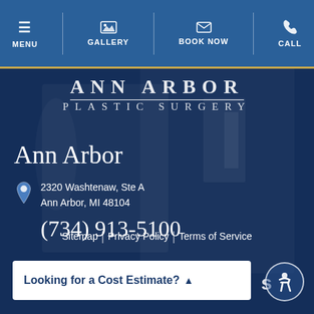MENU | GALLERY | BOOK NOW | CALL
ANN ARBOR PLASTIC SURGERY
Ann Arbor
2320 Washtenaw, Ste A
Ann Arbor, MI 48104
(734) 913-5100
Sitemap | Privacy Policy | Terms of Service
Looking for a Cost Estimate? ▲